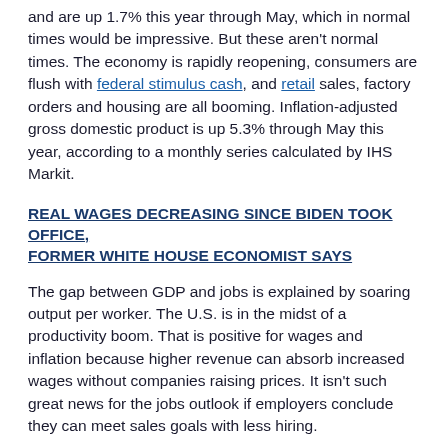and are up 1.7% this year through May, which in normal times would be impressive. But these aren't normal times. The economy is rapidly reopening, consumers are flush with federal stimulus cash, and retail sales, factory orders and housing are all booming. Inflation-adjusted gross domestic product is up 5.3% through May this year, according to a monthly series calculated by IHS Markit.
REAL WAGES DECREASING SINCE BIDEN TOOK OFFICE, FORMER WHITE HOUSE ECONOMIST SAYS
The gap between GDP and jobs is explained by soaring output per worker. The U.S. is in the midst of a productivity boom. That is positive for wages and inflation because higher revenue can absorb increased wages without companies raising prices. It isn't such great news for the jobs outlook if employers conclude they can meet sales goals with less hiring.